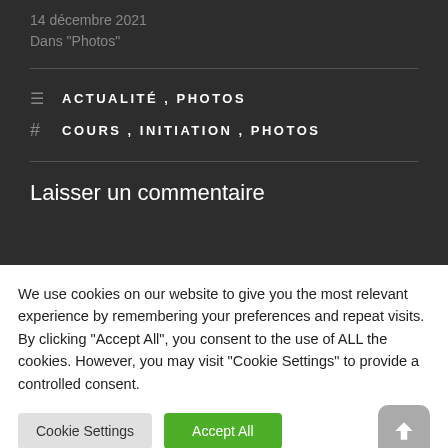14 décembre 2021
Dans "Photos"
ACTUALITÉ , PHOTOS
COURS , INITIATION , PHOTOS
Laisser un commentaire
We use cookies on our website to give you the most relevant experience by remembering your preferences and repeat visits. By clicking "Accept All", you consent to the use of ALL the cookies. However, you may visit "Cookie Settings" to provide a controlled consent.